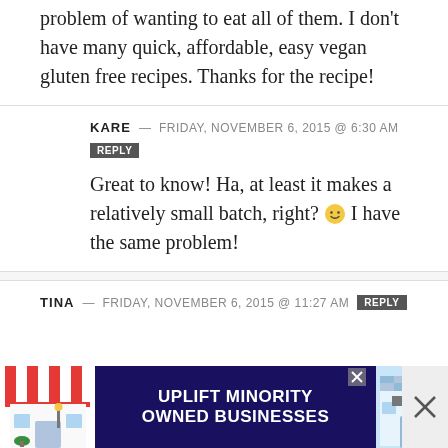problem of wanting to eat all of them. I don't have many quick, affordable, easy vegan gluten free recipes. Thanks for the recipe!
KARE — FRIDAY, NOVEMBER 6, 2015 @ 6:30 AM [REPLY]
Great to know! Ha, at least it makes a relatively small batch, right? 🙂 I have the same problem!
TINA — FRIDAY, NOVEMBER 6, 2015 @ 11:27 AM [REPLY]
[Figure (other): Advertisement banner: UPLIFT MINORITY OWNED BUSINESSES with storefront illustrations on left and right]